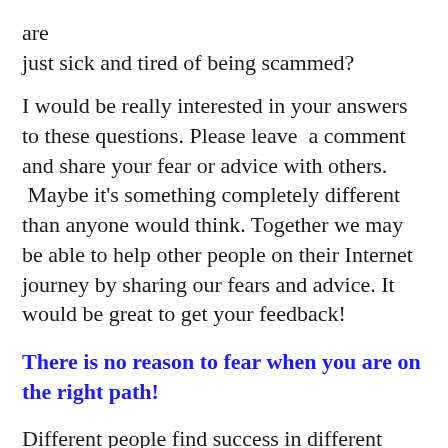are
just sick and tired of being scammed?
I would be really interested in your answers to these questions. Please leave  a comment and share your fear or advice with others.  Maybe it’s something completely different than anyone would think. Together we may be able to help other people on their Internet journey by sharing our fears and advice. It would be great to get your feedback!
There is no reason to fear when you are on the right path!
Different people find success in different ways